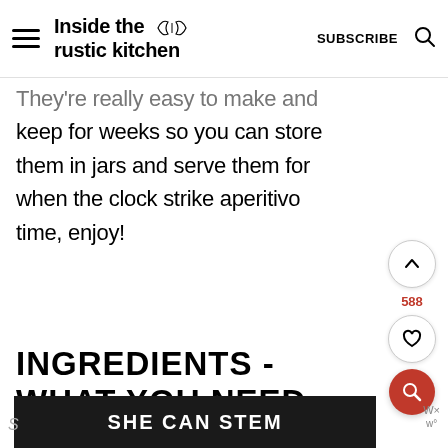Inside the rustic kitchen
They're really easy to make and keep for weeks so you can store them in jars and serve them for when the clock strike aperitivo time, enjoy!
INGREDIENTS - WHAT YOU NEED
[Figure (screenshot): SHE CAN STEM advertisement banner at bottom of page]